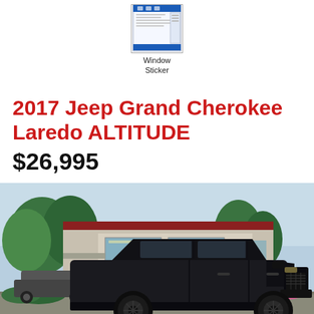[Figure (other): Thumbnail image of a window sticker document with text 'Window Sticker' below]
2017 Jeep Grand Cherokee Laredo ALTITUDE
$26,995
[Figure (photo): Photo of a black 2017 Jeep Grand Cherokee Laredo ALTITUDE parked in front of a dealership building with trees and shrubs in the background]